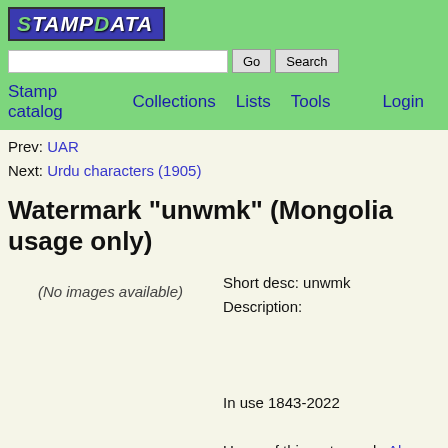StampData
Prev: UAR
Next: Urdu characters (1905)
Watermark "unwmk" (Mongolia usage only)
(No images available)
Short desc: unwmk
Description:

In use 1843-2022

Users of this watermark: Abu Dhabi (86 stamps, 1964-1972),